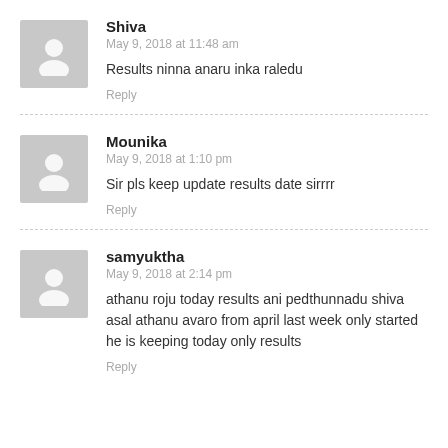Shiva
May 9, 2018 at 11:48 am
Results ninna anaru inka raledu
Reply
Mounika
May 9, 2018 at 1:10 pm
Sir pls keep update results date sirrrr
Reply
samyuktha
May 9, 2018 at 2:14 pm
athanu roju today results ani pedthunnadu shiva asal athanu avaro from april last week only started he is keeping today only results
Reply